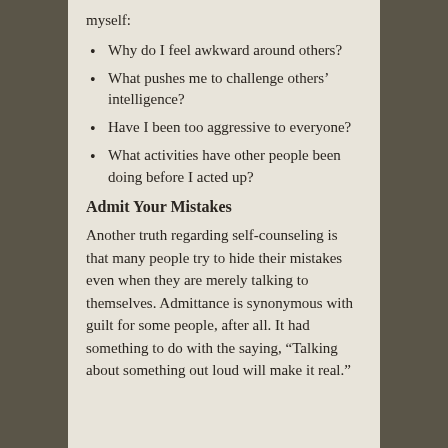myself:
Why do I feel awkward around others?
What pushes me to challenge others' intelligence?
Have I been too aggressive to everyone?
What activities have other people been doing before I acted up?
Admit Your Mistakes
Another truth regarding self-counseling is that many people try to hide their mistakes even when they are merely talking to themselves. Admittance is synonymous with guilt for some people, after all. It had something to do with the saying, “Talking about something out loud will make it real.”